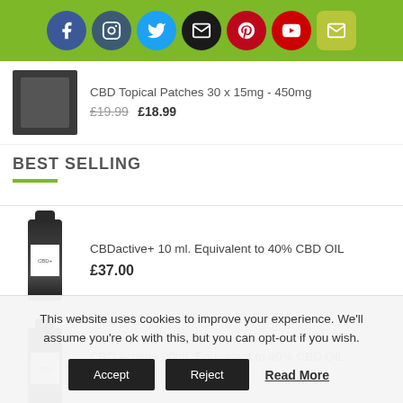[Figure (screenshot): Social media icon bar with Facebook, Instagram, Twitter, Email, Pinterest, YouTube, and email newsletter icons on green background]
CBD Topical Patches 30 x 15mg - 450mg
£19.99  £18.99
BEST SELLING
CBDactive+ 10 ml. Equivalent to 40% CBD OIL
£37.00
CBD Active+ 20ml. Equivalent to 40% CBD OIL
£62.99
This website uses cookies to improve your experience. We'll assume you're ok with this, but you can opt-out if you wish.
Accept  Reject  Read More